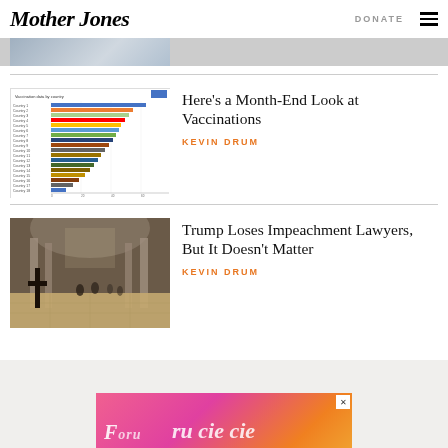Mother Jones | DONATE
[Figure (photo): Partial image at top of page, cut off]
[Figure (bar-chart): Horizontal bar chart showing vaccination data by country]
Here’s a Month-End Look at Vaccinations
KEVIN DRUM
[Figure (photo): Interior of US Capitol Rotunda with people and a cross in the foreground]
Trump Loses Impeachment Lawyers, But It Doesn’t Matter
KEVIN DRUM
[Figure (other): Advertisement banner with pink/orange gradient]